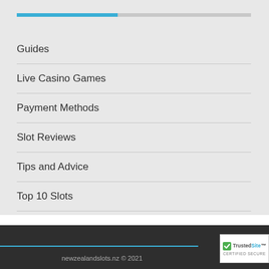Guides
Live Casino Games
Payment Methods
Slot Reviews
Tips and Advice
Top 10 Slots
newzealandslots.nz © 2021